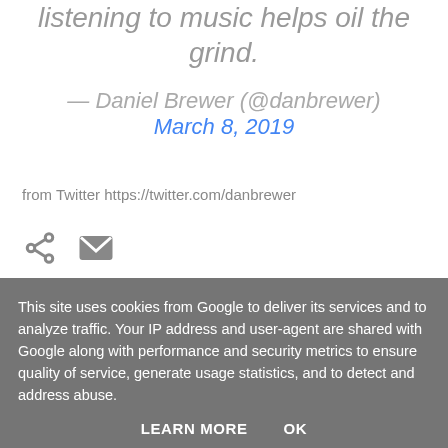listening to music helps oil the grind.
— Daniel Brewer (@danbrewer) March 8, 2019
from Twitter https://twitter.com/danbrewer
[Figure (other): Share icon and email icon buttons]
This site uses cookies from Google to deliver its services and to analyze traffic. Your IP address and user-agent are shared with Google along with performance and security metrics to ensure quality of service, generate usage statistics, and to detect and address abuse.
LEARN MORE   OK